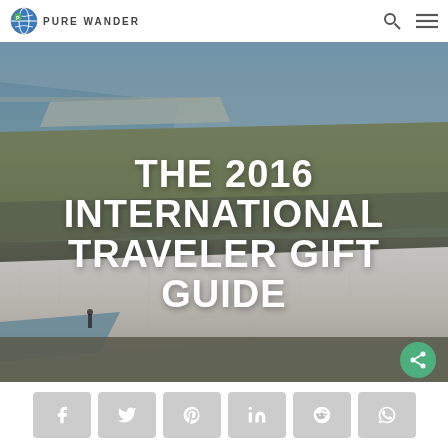Pure Wander
[Figure (photo): Aerial view of white chalk cliffs (Seven Sisters or similar) along a coastline, with sea to the left and green fields above. A person is visible at the base of the cliffs. The image serves as the hero background for the article.]
THE 2016 INTERNATIONAL TRAVELER GIFT GUIDE